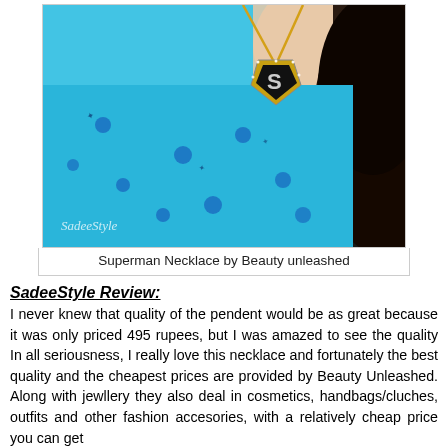[Figure (photo): Close-up photo of a person wearing a bright blue floral dress and a Superman logo necklace (gold and black/silver pendant). The person has long dark hair. A watermark reads 'SadeeStyle' in cursive script at the bottom left of the photo.]
Superman Necklace by Beauty unleashed
SadeeStyle Review:
I never knew that quality of the pendent would be as great because it was only priced 495 rupees, but I was amazed to see the quality In all seriousness, I really love this necklace and fortunately the best quality and the cheapest prices are provided by Beauty Unleashed. Along with jewllery they also deal in cosmetics, handbags/cluches, outfits and other fashion accesories, with a relatively cheap price you can get